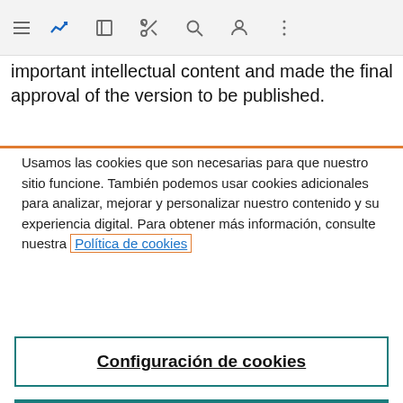[toolbar with navigation icons]
important intellectual content and made the final approval of the version to be published.
Usamos las cookies que son necesarias para que nuestro sitio funcione. También podemos usar cookies adicionales para analizar, mejorar y personalizar nuestro contenido y su experiencia digital. Para obtener más información, consulte nuestra Política de cookies
Configuración de cookies
Aceptar todas las cookies